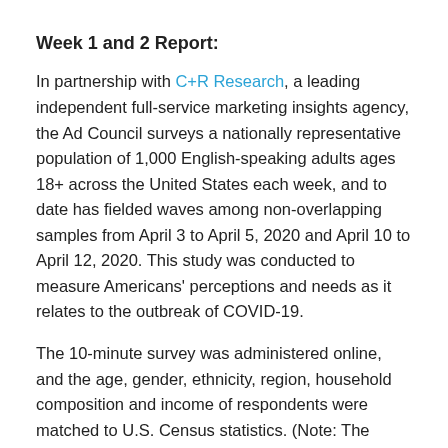Week 1 and 2 Report:
In partnership with C+R Research, a leading independent full-service marketing insights agency, the Ad Council surveys a nationally representative population of 1,000 English-speaking adults ages 18+ across the United States each week, and to date has fielded waves among non-overlapping samples from April 3 to April 5, 2020 and April 10 to April 12, 2020. This study was conducted to measure Americans' perceptions and needs as it relates to the outbreak of COVID-19.
The 10-minute survey was administered online, and the age, gender, ethnicity, region, household composition and income of respondents were matched to U.S. Census statistics. (Note: The margin of error for a sample of 1,000 respondents is +/- 3.1 percentage points at 95% confidence).
Demographic Profile: N= 1000 respondents